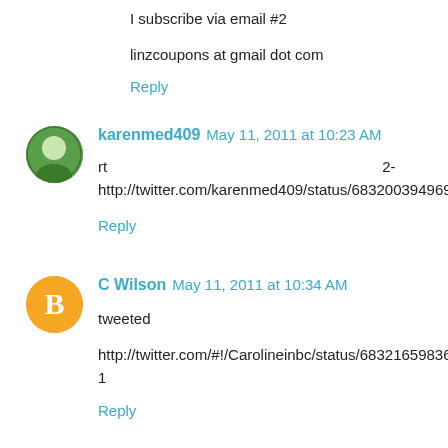I subscribe via email #2
linzcoupons at gmail dot com
Reply
karenmed409  May 11, 2011 at 10:23 AM
rt                                                        2-
http://twitter.com/karenmed409/status/68320039496986624
Reply
C Wilson  May 11, 2011 at 10:34 AM
tweeted
http://twitter.com/#!/Carolineinbc/status/6832165983631360
1
Reply